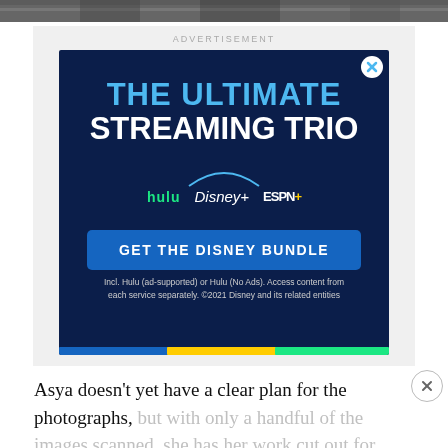[Figure (photo): Black and white photograph strip at top of page, partially cropped]
[Figure (screenshot): Advertisement banner for Disney Bundle featuring Hulu, Disney+, and ESPN+. Text reads: THE ULTIMATE STREAMING TRIO, hulu Disney+ ESPN+, GET THE DISNEY BUNDLE. Fine print: Incl. Hulu (ad-supported) or Hulu (No Ads). Access content from each service separately. ©2021 Disney and its related entities]
ADVERTISEMENT
Asya doesn’t yet have a clear plan for the photographs, but with only a handful of the images scanned, she has her work cut out for her, finally, one by one, releasing